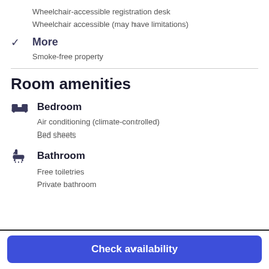Wheelchair-accessible registration desk
Wheelchair accessible (may have limitations)
✓ More
Smoke-free property
Room amenities
Bedroom
Air conditioning (climate-controlled)
Bed sheets
Bathroom
Free toiletries
Private bathroom
Check availability